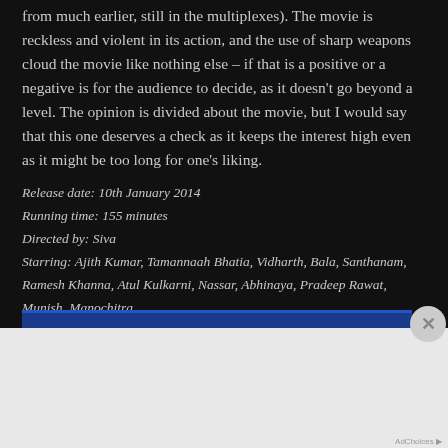from much earlier, still in the multiplexes). The movie is reckless and violent in its action, and the use of sharp weapons cloud the movie like nothing else – if that is a positive or a negative is for the audience to decide, as it doesn't go beyond a level. The opinion is divided about the movie, but I would say that this one deserves a check as it keeps the interest high even as it might be too long for one's liking.
Release date: 10th January 2014
Running time: 155 minutes
Directed by: Siva
Starring: Ajith Kumar, Tamannaah Bhatia, Vidharth, Bala, Santhanam, Ramesh Khanna, Atul Kulkarni, Nassar, Abhinaya, Pradeep Rawat, Munish, Manochitra
[Figure (other): Advertisement banner: Jetpack plugin ad with 'Back up your site' button on green background]